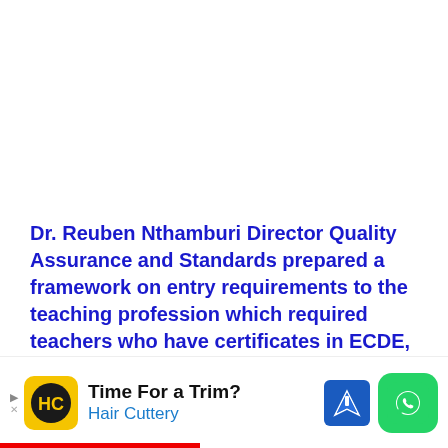Dr. Reuben Nthamburi Director Quality Assurance and Standards prepared a framework on entry requirements to the teaching profession which required teachers who have certificates in ECDE, Primary Teacher Education (PTE), and Diploma in Teacher Education (DTE) to have Post Training Certificate (PTC) to be certified for teaching the
[Figure (other): Advertisement banner: Time For a Trim? Hair Cuttery. Shows HC logo in yellow, navigation map pin icon, and WhatsApp green icon.]